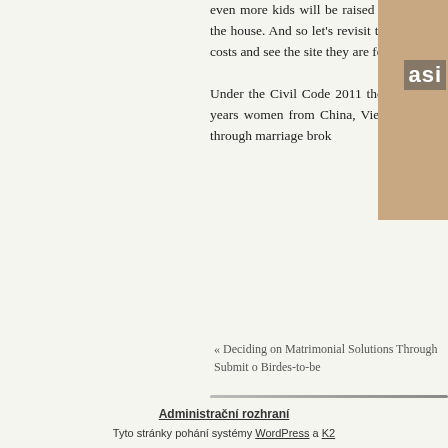even more kids will be raised while not each mother and father inside the house. And so let's revisit the connection between faith and divorce costs and see the site they are for now.
Under the Civil Code 2011 the minimal legal age of matrimony is 18 years women from China, Vietnam, Thailand, th South Korean males through marriage brok
[Figure (photo): Partial photo of a person with text overlay reading 'asi']
« Deciding on Matrimonial Solutions Through Submit o Birdes-to-be
Administrační rozhraní
Typo stránky pohání systémy WordPress a K2
Hlavní stránka, Mapa webu, Prohlášení o přístupnosti, Copyright © Obec Zlátenka, Autor Patrik Jira a Zdeněk Klika
RSS článků a RSS komentářů